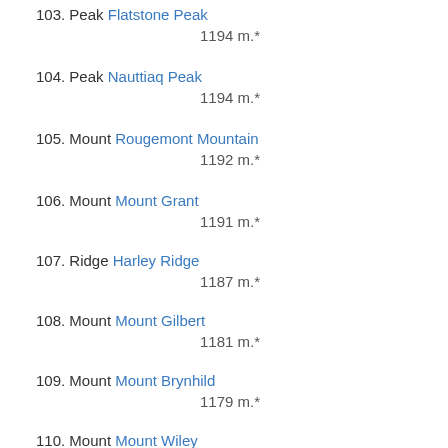103. Peak Flatstone Peak — 1194 m.*
104. Peak Nauttiaq Peak — 1194 m.*
105. Mount Rougemont Mountain — 1192 m.*
106. Mount Mount Grant — 1191 m.*
107. Ridge Harley Ridge — 1187 m.*
108. Mount Mount Gilbert — 1181 m.*
109. Mount Mount Brynhild — 1179 m.*
110. Mount Mount Wiley — 1179 m.*
111. Ridge Centennial Ridge — 1175 m.*
112. Peak Gauntlet Peak — 1175 m.*
113. Peak Spartan Peak — 1175 m.*
114. Peak Tirokwa Peak — 1175 m.*